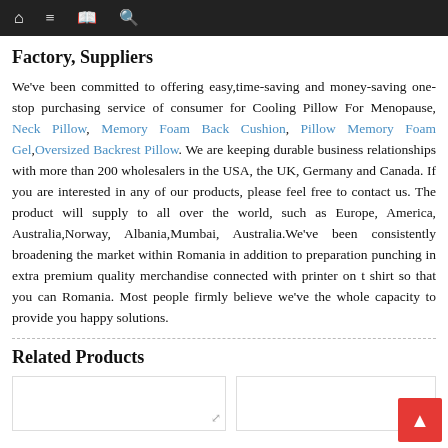Navigation bar with home, menu, book, and search icons
Factory, Suppliers
We've been committed to offering easy,time-saving and money-saving one-stop purchasing service of consumer for Cooling Pillow For Menopause, Neck Pillow, Memory Foam Back Cushion, Pillow Memory Foam Gel,Oversized Backrest Pillow. We are keeping durable business relationships with more than 200 wholesalers in the USA, the UK, Germany and Canada. If you are interested in any of our products, please feel free to contact us. The product will supply to all over the world, such as Europe, America, Australia,Norway, Albania,Mumbai, Australia.We've been consistently broadening the market within Romania in addition to preparation punching in extra premium quality merchandise connected with printer on t shirt so that you can Romania. Most people firmly believe we've the whole capacity to provide you happy solutions.
Related Products
[Figure (other): Two product image placeholder boxes at the bottom of the page]